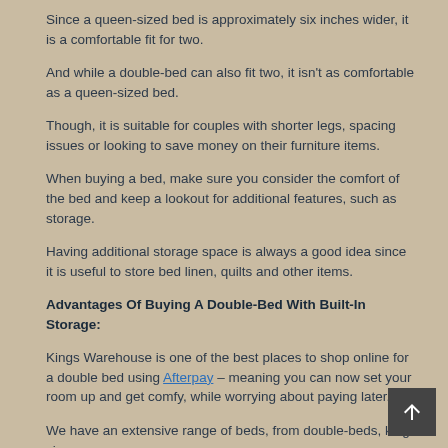Since a queen-sized bed is approximately six inches wider, it is a comfortable fit for two.
And while a double-bed can also fit two, it isn't as comfortable as a queen-sized bed.
Though, it is suitable for couples with shorter legs, spacing issues or looking to save money on their furniture items.
When buying a bed, make sure you consider the comfort of the bed and keep a lookout for additional features, such as storage.
Having additional storage space is always a good idea since it is useful to store bed linen, quilts and other items.
Advantages Of Buying A Double-Bed With Built-In Storage:
Kings Warehouse is one of the best places to shop online for a double bed using Afterpay – meaning you can now set your room up and get comfy, while worrying about paying later.
We have an extensive range of beds, from double-beds, king-size